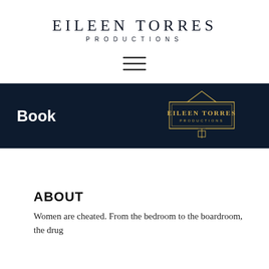EILEEN TORRES PRODUCTIONS
[Figure (illustration): Hamburger menu icon with three horizontal lines]
[Figure (logo): Dark navy banner with 'Book' text on the left and Eileen Torres Productions decorative gold logo on the right]
ABOUT
Women are cheated. From the bedroom to the boardroom, the drug